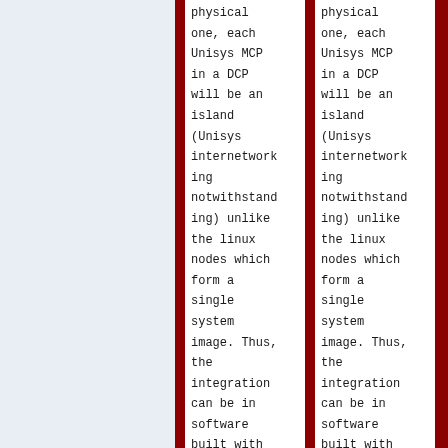physical one, each Unisys MCP in a DCP will be an island (Unisys internetworking notwithstanding) unlike the linux nodes which form a single system image. Thus, the integration can be in software built with
physical one, each Unisys MCP in a DCP will be an island (Unisys internetworking notwithstanding) unlike the linux nodes which form a single system image. Thus, the integration can be in software built with